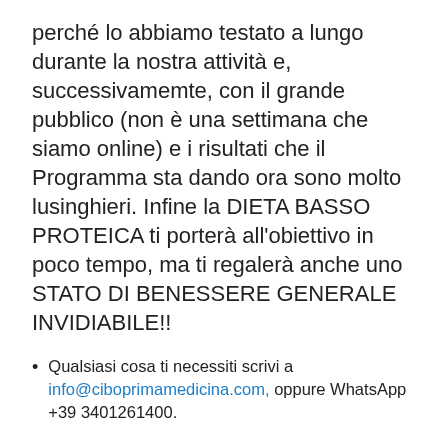perché lo abbiamo testato a lungo durante la nostra attività e, successivamemte, con il grande pubblico (non è una settimana che siamo online) e i risultati che il Programma sta dando ora sono molto lusinghieri. Infine la DIETA BASSO PROTEICA ti porterà all'obiettivo in poco tempo, ma ti regalerà anche uno STATO DI BENESSERE GENERALE INVIDIABILE!!
Qualsiasi cosa ti necessiti scrivi a info@ciboprimamedicina.com, oppure WhatsApp +39 3401261400.